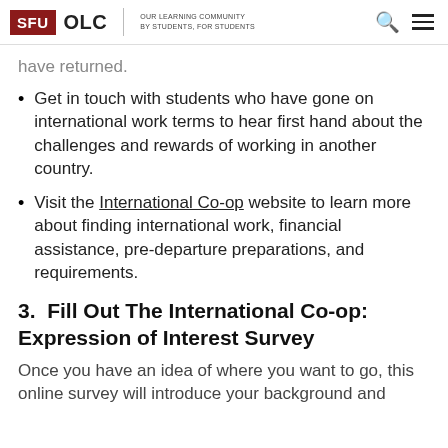SFU OLC | OUR LEARNING COMMUNITY BY STUDENTS, FOR STUDENTS
have returned.
Get in touch with students who have gone on international work terms to hear first hand about the challenges and rewards of working in another country.
Visit the International Co-op website to learn more about finding international work, financial assistance, pre-departure preparations, and requirements.
3.  Fill Out The International Co-op: Expression of Interest Survey
Once you have an idea of where you want to go, this online survey will introduce your background and